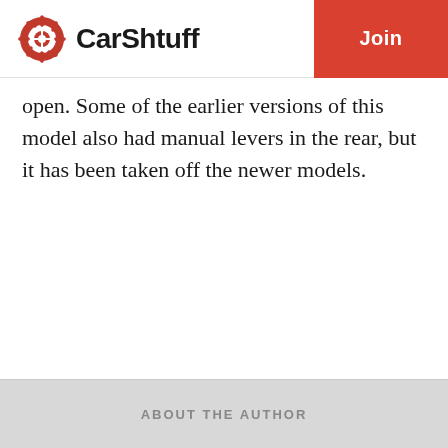CarShtuff | Join
open. Some of the earlier versions of this model also had manual levers in the rear, but it has been taken off the newer models.
ABOUT THE AUTHOR